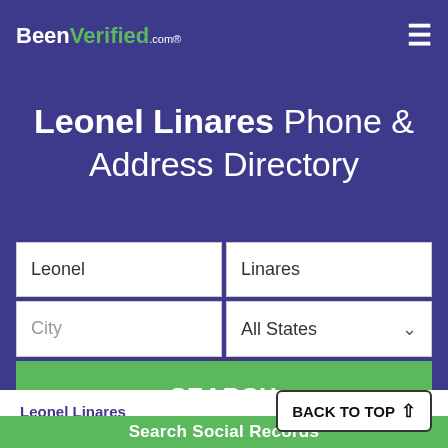BeenVerified.com
Leonel Linares Phone & Address Directory
Leonel | Linares
City | All States
SEARCH
Leonel Linares    Get Report >
BACK TO TOP ↑
Search Social Records